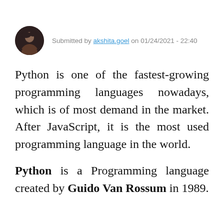Submitted by akshita.goel on 01/24/2021 - 22:40
Python is one of the fastest-growing programming languages nowadays, which is of most demand in the market. After JavaScript, it is the most used programming language in the world.
Python is a Programming language created by Guido Van Rossum in 1989.